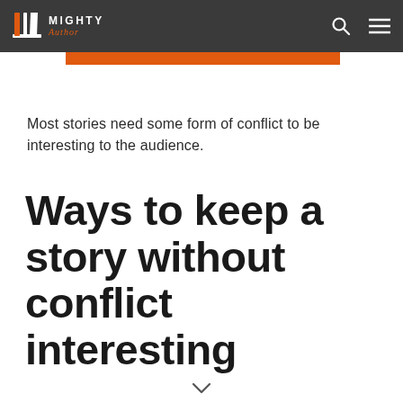Mighty Author — navigation bar with logo, search icon, and menu icon
[Figure (other): Orange horizontal bar/banner stripe below the navigation]
Most stories need some form of conflict to be interesting to the audience.
Ways to keep a story without conflict interesting